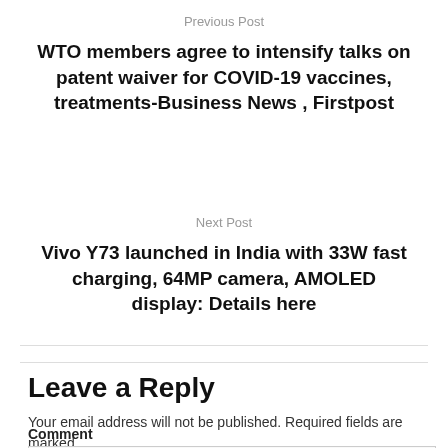Previous Post
WTO members agree to intensify talks on patent waiver for COVID-19 vaccines, treatments-Business News , Firstpost
Next Post
Vivo Y73 launched in India with 33W fast charging, 64MP camera, AMOLED display: Details here
Leave a Reply
Your email address will not be published. Required fields are marked *
Comment